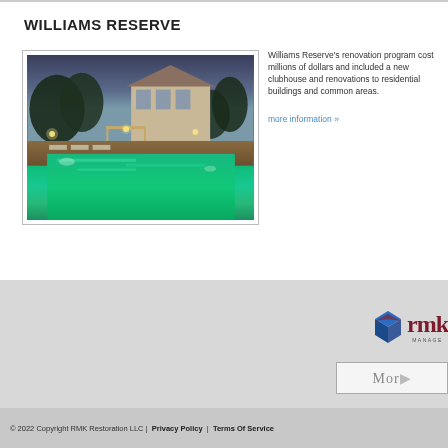WILLIAMS RESERVE
[Figure (photo): Nighttime photo of Williams Reserve apartment community showing illuminated swimming pool area with lounge chairs, pergola, trees, and residential building in background]
Williams Reserve's renovation program cost millions of dollars and included a new clubhouse and renovations to residential buildings and common areas.
more information »
[Figure (logo): RMK Management logo showing a blue/red diamond cube icon next to bold dark red letters 'rmk' with 'MANAGEMENT' below]
[Figure (other): Morgan box - partial text showing 'Mor' with border]
© 2022 Copyright RMK Restoration LLC |  Privacy Policy  |  Terms Of Service